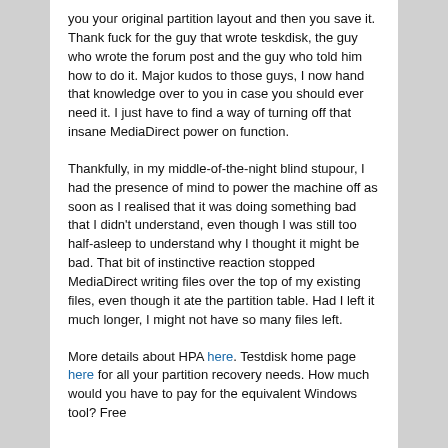you your original partition layout and then you save it. Thank fuck for the guy that wrote teskdisk, the guy who wrote the forum post and the guy who told him how to do it. Major kudos to those guys, I now hand that knowledge over to you in case you should ever need it. I just have to find a way of turning off that insane MediaDirect power on function.
Thankfully, in my middle-of-the-night blind stupour, I had the presence of mind to power the machine off as soon as I realised that it was doing something bad that I didn't understand, even though I was still too half-asleep to understand why I thought it might be bad. That bit of instinctive reaction stopped MediaDirect writing files over the top of my existing files, even though it ate the partition table. Had I left it much longer, I might not have so many files left.
More details about HPA here. Testdisk home page here for all your partition recovery needs. How much would you have to pay for the equivalent Windows tool? Free